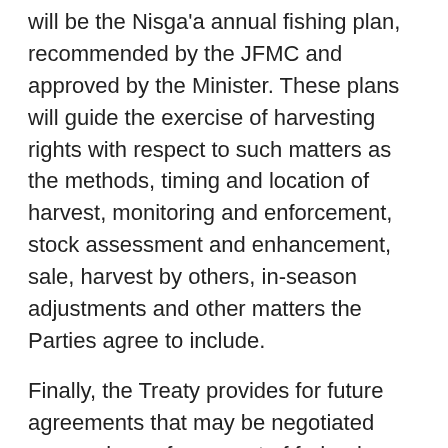will be the Nisga'a annual fishing plan, recommended by the JFMC and approved by the Minister. These plans will guide the exercise of harvesting rights with respect to such matters as the methods, timing and location of harvest, monitoring and enforcement, stock assessment and enhancement, sale, harvest by others, in-season adjustments and other matters the Parties agree to include.
Finally, the Treaty provides for future agreements that may be negotiated concerning enforcement of federal, provincial and Nisga'a laws.
Q: What is the Lisims Fisheries Conservation Trust?
A: Canada and the Nisga'a have agreed to establish the Lisims Fisheries Conservation Trust with the objective of promoting conservation and protection